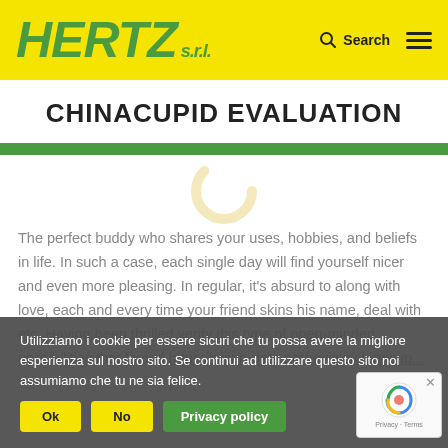HERTZ s.r.l. | Search
CHINACUPID EVALUATION
[Figure (illustration): Partial circular loading spinner icon in light yellow/gold color, centered on white background]
The perfect buddy who shares your uses, hobbies, and beliefs in life. In such a case, each single day will find yourself nicer and even more pleasing. In regular, it's absurd to along with love, each and every time your friend skins his name, deal with etc. Having been thrilled verify this type of open-minded possibilities that forced https://asian-date.net/review/chinacup...
Utilizziamo i cookie per essere sicuri che tu possa avere la migliore esperienza sul nostro sito. Se continui ad utilizzare questo sito noi assumiamo che tu ne sia felice.